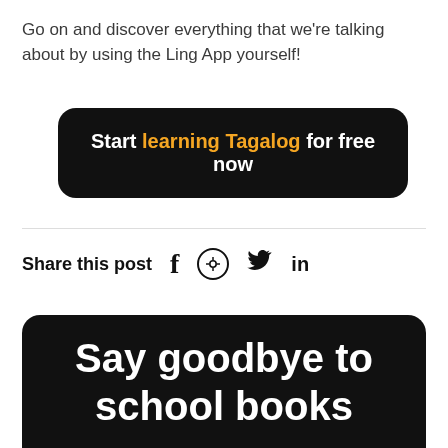Go on and discover everything that we're talking about by using the Ling App yourself!
[Figure (other): Black rounded button with text: Start learning Tagalog for free now, where 'learning Tagalog' is highlighted in yellow/gold]
Share this post  f  (pinterest icon)  (twitter bird icon)  in
[Figure (other): Dark card with white bold text: Say goodbye to school books]